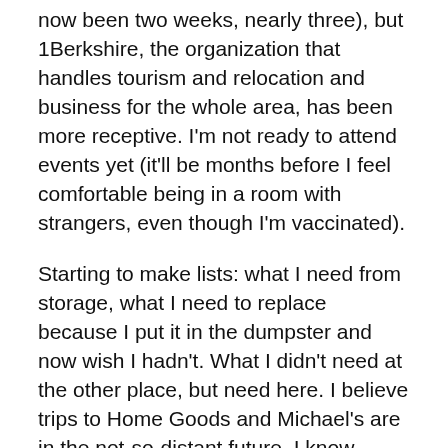now been two weeks, nearly three), but 1Berkshire, the organization that handles tourism and relocation and business for the whole area, has been more receptive. I'm not ready to attend events yet (it'll be months before I feel comfortable being in a room with strangers, even though I'm vaccinated).
Starting to make lists: what I need from storage, what I need to replace because I put it in the dumpster and now wish I hadn't. What I didn't need at the other place, but need here. I believe trips to Home Goods and Michael's are in the not-so-distant future. I know where Home Goods is in Pittsfield, but not sure I can find Michael's.
I'm rejoining the online meditation group out of Concord Library this morning. I've missed them, and look forward to it. Later, I have to go to the library to pick up a book that